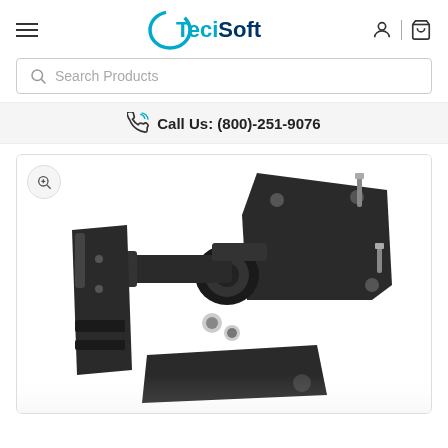[Figure (logo): TeciSoft logo with teal arc on left, bold teal 'Teci' and dark blue 'Soft' text]
Search Products
Call Us: (800)-251-9076
[Figure (photo): Close-up 3D CAD rendering of a black metal TV/monitor wall mount bracket with articulating arm, bolts, and spring tensioners on white background]